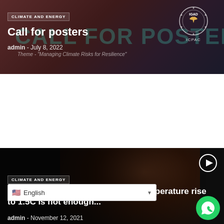[Figure (screenshot): Card 1: Climate and Energy article banner with dark reddish background, IGAD/ICPAC logo, Call for Posters title, admin meta, July 8 2022]
CLIMATE AND ENERGY
Call for posters
admin - July 8, 2022
[Figure (screenshot): Card 2: Vanessa Nakate article with dark background photo of a person, play button icon]
CLIMATE AND ENERGY
Vanessa Nakate: Limiting global temperature rise to 1.5C is not enough...
admin - November 12, 2021
[Figure (screenshot): Card 3: Innovative Volunteerism article with green overlay and agricultural background]
CLIMATE AND ENERGY
Innovative Volunteerism actors in Nigeria...